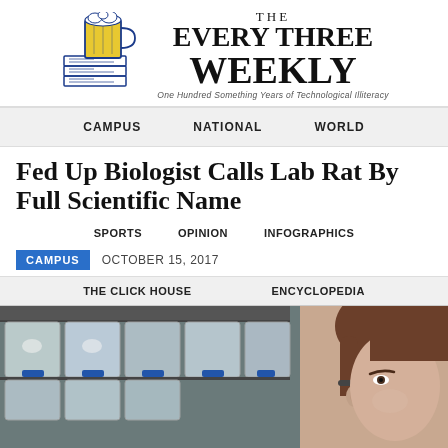[Figure (logo): The Every Three Weekly newspaper logo with a beer mug and stack of newspapers illustration]
THE EVERY THREE WEEKLY
One Hundred Something Years of Technological Illiteracy
CAMPUS   NATIONAL   WORLD
Fed Up Biologist Calls Lab Rat By Full Scientific Name
SPORTS   OPINION   INFOGRAPHICS
CAMPUS   OCTOBER 15, 2017
THE CLICK HOUSE   ENCYCLOPEDIA
[Figure (photo): Woman with brown hair in ponytail looking at lab rat cages with plastic containers stacked on shelves, blue caps visible]